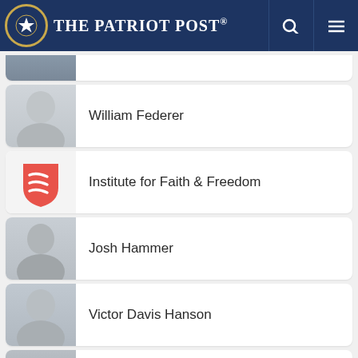The Patriot Post
(partial top card)
William Federer
Institute for Faith & Freedom
Josh Hammer
Victor Davis Hanson
David Harsanyi